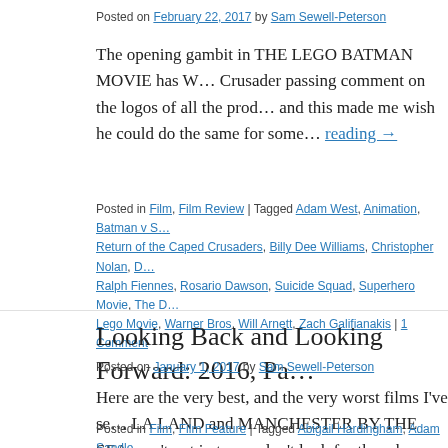Posted on February 22, 2017 by Sam Sewell-Peterson
The opening gambit in THE LEGO BATMAN MOVIE has W… Crusader passing comment on the logos of all the prod… and this made me wish he could do the same for some… Continue reading →
Posted in Film, Film Review | Tagged Adam West, Animation, Batman v S… Return of the Caped Crusaders, Billy Dee Williams, Christopher Nolan, D… Ralph Fiennes, Rosario Dawson, Suicide Squad, Superhero Movie, The D… Lego Movie, Warner Bros, Will Arnett, Zach Galifianakis | 1 Comment
Looking Back and Looking Forward: 2016, Pa…
Posted on January 1, 2017 by Sam Sewell-Peterson
Here are the very best, and the very worst films I've se… LA LAND and MANCHESTER BY THE SEA aren't out in t… so don't look for them here. Absent also … Continue reading
Posted in Film, Film Feature | Tagged Abigail Hardingham, Adam Sandle… Superman: Dawn of Justice, Blaine Brothers, Blockbuster, Chris Pine, Ci…